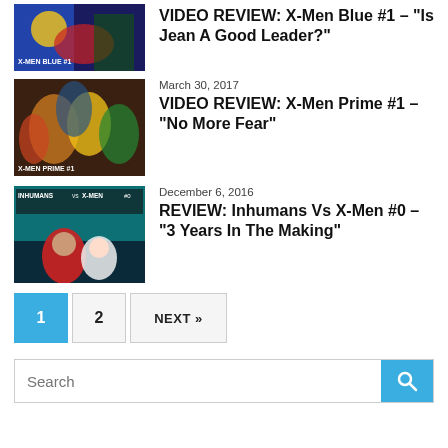[Figure (illustration): Comic book cover art for X-Men Blue #1 showing colorful superhero characters]
VIDEO REVIEW: X-Men Blue #1 – "Is Jean A Good Leader?"
[Figure (illustration): Comic book cover art for X-Men Prime #1 showing a group of X-Men characters]
March 30, 2017
VIDEO REVIEW: X-Men Prime #1 – "No More Fear"
[Figure (illustration): Comic book cover art for Inhumans Vs X-Men #0 showing action scene]
December 6, 2016
REVIEW: Inhumans Vs X-Men #0 – "3 Years In The Making"
1
2
NEXT »